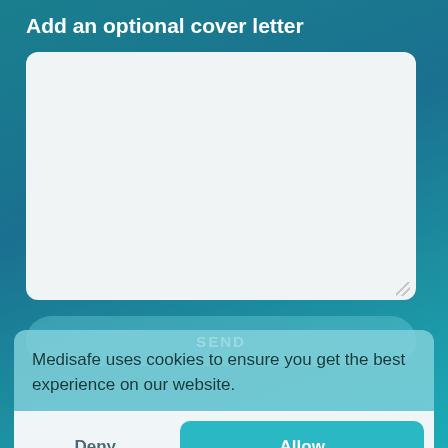Add an optional cover letter
[Figure (screenshot): Empty textarea input box with rounded corners on a teal background]
SEND
Medisafe uses cookies to ensure you get the best experience on our website.
Deny
Allow